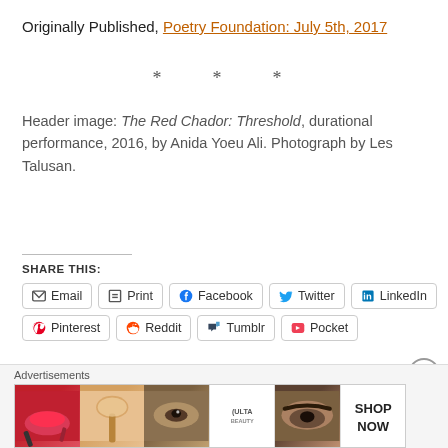Originally Published, Poetry Foundation: July 5th, 2017
* * *
Header image: The Red Chador: Threshold, durational performance, 2016, by Anida Yoeu Ali. Photograph by Les Talusan.
SHARE THIS:
Email  Print  Facebook  Twitter  LinkedIn
Pinterest  Reddit  Tumblr  Pocket
[Figure (screenshot): Like button with star icon and user avatar thumbnail]
[Figure (screenshot): Advertisements banner: Ulta Beauty ad with makeup images and SHOP NOW text]